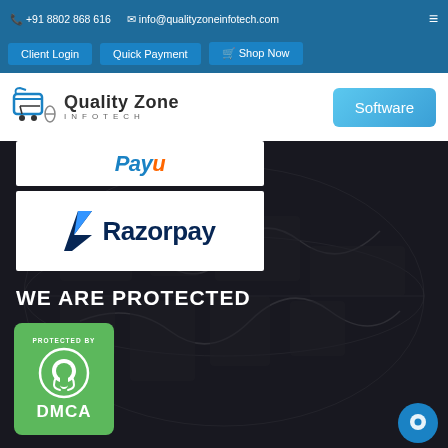+91 8802 868 616  |  info@qualityzoneinfotech.com
Client Login  Quick Payment  Shop Now
[Figure (logo): Quality Zone Infotech logo with shopping cart icon]
Software
[Figure (logo): Razorpay logo with blue geometric arrow/triangle mark]
WE ARE PROTECTED
[Figure (other): DMCA Protected By badge in green with WhatsApp icon, showing PROTECTED BY text and DMCA logo]